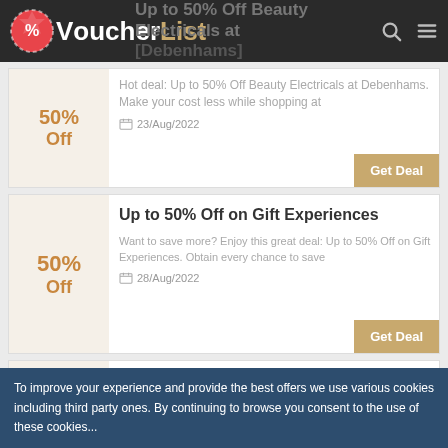VoucherList — Up to 50% Off Beauty Electricals at [Debenhams]
50% Off — Hot deal: Up to 50% Off Beauty Electricals at Debenhams. Make your cost less while shopping at — 23/Aug/2022 — Get Deal
50% Off — Up to 50% Off on Gift Experiences — Want to save more? Enjoy this great deal: Up to 50% Off on Gift Experiences. Obtain every chance to save — 28/Aug/2022 — Get Deal
20% Off — Take 20% Off on Select Women's Clothing From Levi's — Take 20% Off on Select Women's Clothing From Levi's.verified today.Debenhamsoffers best price.Now — 03/Sep/2022 — Get Deal
To improve your experience and provide the best offers we use various cookies including third party ones. By continuing to browse you consent to the use of these cookies...